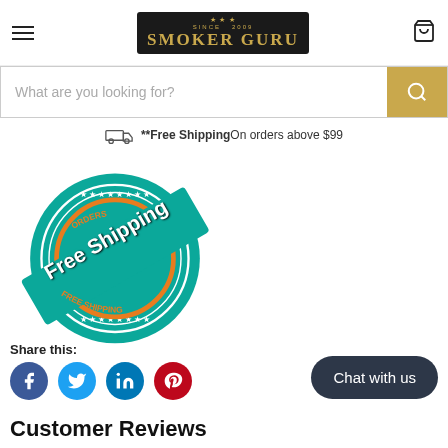[Figure (logo): Smoker Guru logo with antlers on dark background]
What are you looking for?
**Free ShippingOn orders above $99
[Figure (illustration): Free Shipping teal badge/stamp with 'Free Shipping' text on a decorative circular stamp]
Share this:
[Figure (infographic): Social media icons: Facebook, Twitter, LinkedIn, Pinterest]
Chat with us
Customer Reviews